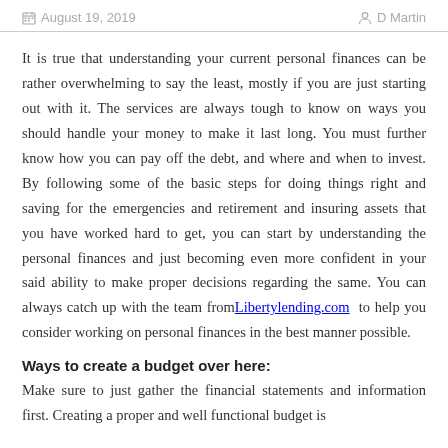August 19, 2019   D Martin
It is true that understanding your current personal finances can be rather overwhelming to say the least, mostly if you are just starting out with it. The services are always tough to know on ways you should handle your money to make it last long. You must further know how you can pay off the debt, and where and when to invest. By following some of the basic steps for doing things right and saving for the emergencies and retirement and insuring assets that you have worked hard to get, you can start by understanding the personal finances and just becoming even more confident in your said ability to make proper decisions regarding the same. You can always catch up with the team from Libertylending.com to help you consider working on personal finances in the best manner possible.
Ways to create a budget over here:
Make sure to just gather the financial statements and information first. Creating a proper and well functional budget is